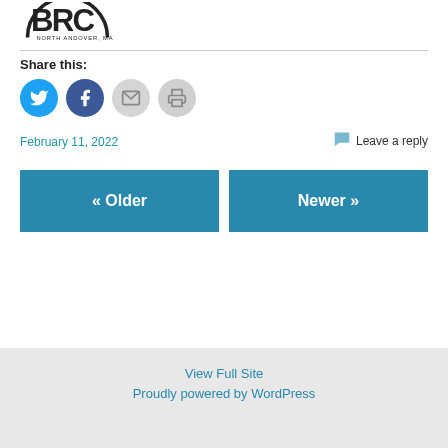[Figure (logo): BRC North Andover, MA circular logo — partial top portion visible]
Share this:
[Figure (other): Social sharing icons: Twitter (blue circle), Facebook (dark blue circle), Email (gray circle), Print (gray circle)]
February 11, 2022
Leave a reply
« Older
Newer »
View Full Site
Proudly powered by WordPress